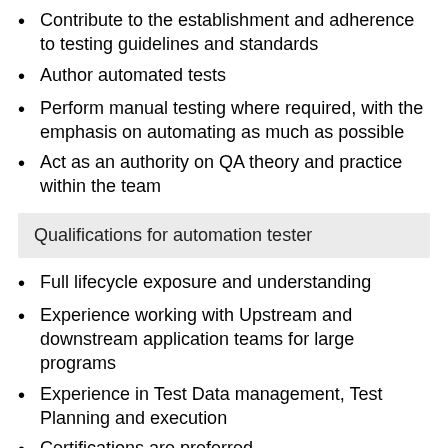Contribute to the establishment and adherence to testing guidelines and standards
Author automated tests
Perform manual testing where required, with the emphasis on automating as much as possible
Act as an authority on QA theory and practice within the team
Qualifications for automation tester
Full lifecycle exposure and understanding
Experience working with Upstream and downstream application teams for large programs
Experience in Test Data management, Test Planning and execution
Certifications are preferred